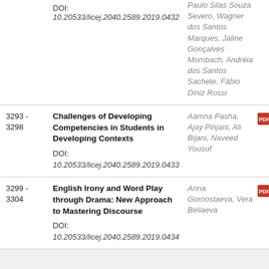DOI: 10.20533/licej.2040.2589.2019.0432
Paulo Silas Souza Severo, Wagner dos Santos Marques, Jaline Gonçalves Mombach, Andréia dos Santos Sachete, Fábio Diniz Rossi
| Pages | Title | Authors |  |
| --- | --- | --- | --- |
| 3293 - 3298 | Challenges of Developing Competencies in Students in Developing Contexts
DOI: 10.20533/licej.2040.2589.2019.0433 | Aamna Pasha, Ajay Pinjani, Ali Bijani, Naveed Yousuf | PDF |
| 3299 - 3304 | English Irony and Word Play through Drama: New Approach to Mastering Discourse
DOI: 10.20533/licej.2040.2589.2019.0434 | Anna Gornostaeva, Vera Beliaeva | PDF |